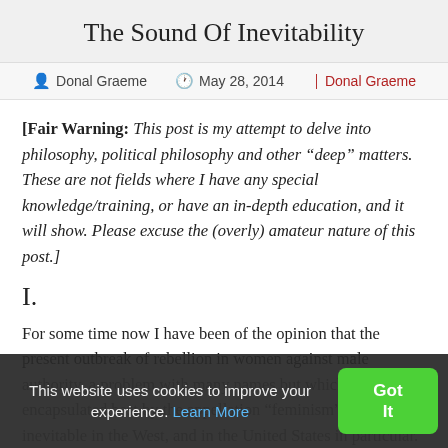The Sound Of Inevitability
Donal Graeme  |  May 28, 2014  |  Donal Graeme
[Fair Warning: This post is my attempt to delve into philosophy, political philosophy and other “deep” matters. These are not fields where I have any special knowledge/training, or have an in-depth education, and it will show. Please excuse the (overly) amateur nature of this post.]
I.
For some time now I have been of the opinion that the present outbreak of rebellion in women against male authority, a problem with many names but which can be encapsulated best by the appellation “feminism”, was inevitable in the West, and in the United States in particular. Several different factors are at play right now in
This website uses cookies to improve your experience. Learn More
Got It